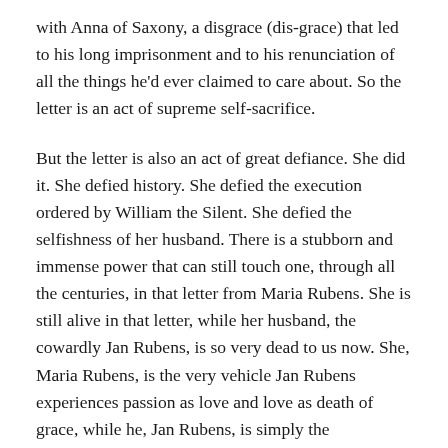with Anna of Saxony, a disgrace (dis-grace) that led to his long imprisonment and to his renunciation of all the things he'd ever claimed to care about. So the letter is an act of supreme self-sacrifice.
But the letter is also an act of great defiance. She did it. She defied history. She defied the execution ordered by William the Silent. She defied the selfishness of her husband. There is a stubborn and immense power that can still touch one, through all the centuries, in that letter from Maria Rubens. She is still alive in that letter, while her husband, the cowardly Jan Rubens, is so very dead to us now. She, Maria Rubens, is the very vehicle Jan Rubens experiences passion as love and love as death of grace, while he, Jan Rubens, is simply the undeserving recipient.
And then came the second act of grace, which was bestowed by the force of history in a backward-moving motion. Jan